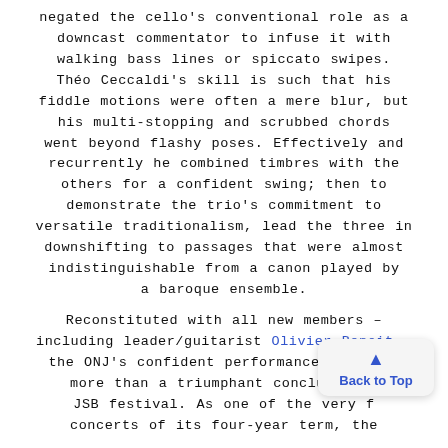negated the cello's conventional role as a downcast commentator to infuse it with walking bass lines or spiccato swipes. Théo Ceccaldi's skill is such that his fiddle motions were often a mere blur, but his multi-stopping and scrubbed chords went beyond flashy poses. Effectively and recurrently he combined timbres with the others for a confident swing; then to demonstrate the trio's commitment to versatile traditionalism, lead the three in downshifting to passages that were almost indistinguishable from a canon played by a baroque ensemble.

Reconstituted with all new members – including leader/guitarist Olivier Benoit – the ONJ's confident performance here was more than a triumphant conclusion t… JSB festival. As one of the very f… concerts of its four-year term, the